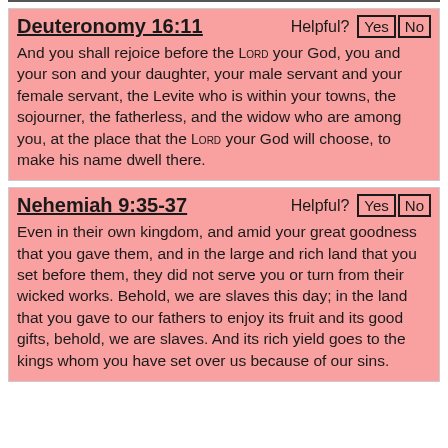Deuteronomy 16:11 — Helpful? Yes No
And you shall rejoice before the LORD your God, you and your son and your daughter, your male servant and your female servant, the Levite who is within your towns, the sojourner, the fatherless, and the widow who are among you, at the place that the LORD your God will choose, to make his name dwell there.
Nehemiah 9:35-37 — Helpful? Yes No
Even in their own kingdom, and amid your great goodness that you gave them, and in the large and rich land that you set before them, they did not serve you or turn from their wicked works. Behold, we are slaves this day; in the land that you gave to our fathers to enjoy its fruit and its good gifts, behold, we are slaves. And its rich yield goes to the kings whom you have set over us because of our sins.